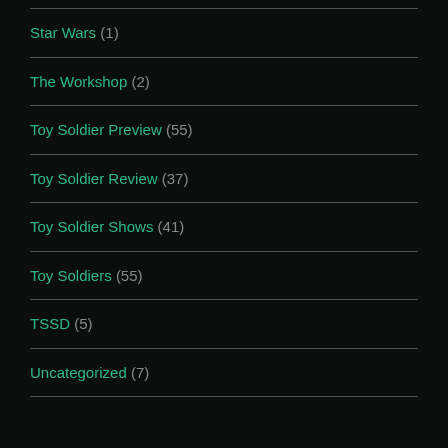Star Wars (1)
The Workshop (2)
Toy Soldier Preview (55)
Toy Soldier Review (37)
Toy Soldier Shows (41)
Toy Soldiers (55)
TSSD (5)
Uncategorized (7)